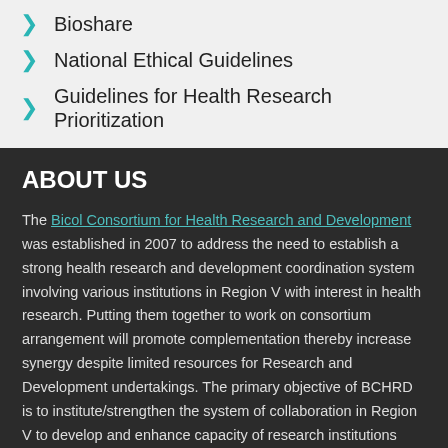Bioshare
National Ethical Guidelines
Guidelines for Health Research Prioritization
ABOUT US
The Bicol Consortium for Health Research and Development was established in 2007 to address the need to establish a strong health research and development coordination system involving various institutions in Region V with interest in health research. Putting them together to work on consortium arrangement will promote complementation thereby increase synergy despite limited resources for Research and Development undertakings. The primary objective of BCHRD is to institute/strengthen the system of collaboration in Region V to develop and enhance capacity of research institutions within the region which has interest and engage in health and related researches, as a strategy to improve the health conditions of the Bicolanos.